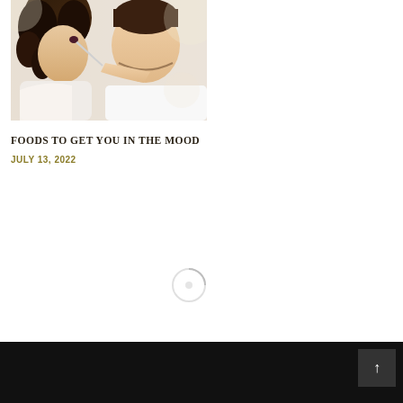[Figure (photo): A couple feeding each other food, woman eating from a fork held by a man, romantic dining scene]
FOODS TO GET YOU IN THE MOOD
JULY 13, 2022
[Figure (other): Search icon / loading spinner in light gray]